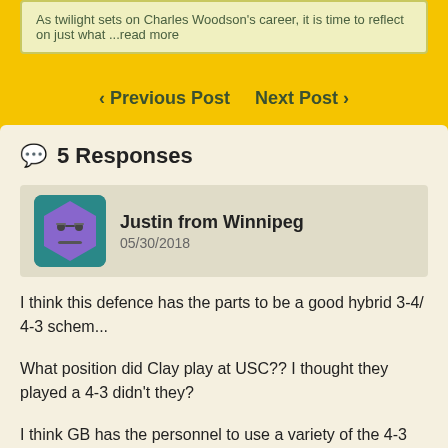As twilight sets on Charles Woodson's career, it is time to reflect on just what ...read more
< Previous Post   Next Post >
5 Responses
Justin from Winnipeg
05/30/2018
I think this defence has the parts to be a good hybrid 3-4/ 4-3 schem...
What position did Clay play at USC?? I thought they played a 4-3 didn't they?
I think GB has the personnel to use a variety of the 4-3 and 3-4, Clay I am sure is capable of being able to rush as a down lineman on the edge as well as a stand up rusher.. Plus they already have good interior 4-3 linemen in Raji, and Pickett.. They could develop a mean